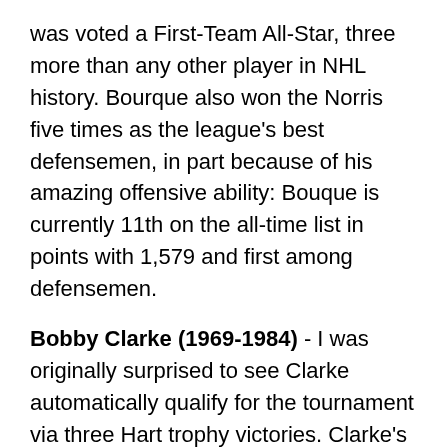was voted a First-Team All-Star, three more than any other player in NHL history. Bourque also won the Norris five times as the league's best defensemen, in part because of his amazing offensive ability: Bouque is currently 11th on the all-time list in points with 1,579 and first among defensemen.
Bobby Clarke (1969-1984) - I was originally surprised to see Clarke automatically qualify for the tournament via three Hart trophy victories. Clarke's offensive output is impressive, but 1.06 points per game over 1,144 career games isn't really all that good in this tournament. My confusion was rectified when in the comments to my first post in this series, it was pointed out that Clarke is one of the most dominant two-way players ever. Here's Pardini's brief summary of what made Clarke so great: